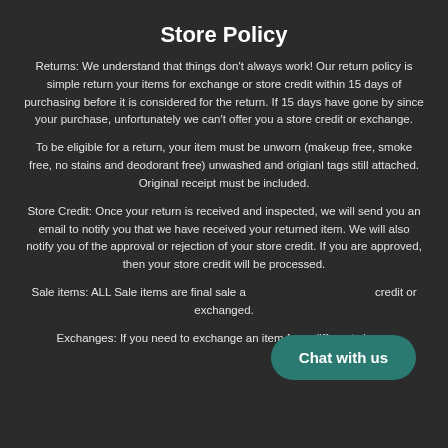Store Policy
Returns: We understand that things don't always work! Our return policy is simple return your items for exchange or store credit within 15 days of purchasing before it is considered for the return. If 15 days have gone by since your purchase, unfortunately we can't offer you a store credit or exchange.
To be eligible for a return, your item must be unworn (makeup free, smoke free, no stains and deodorant free) unwashed and origianl tags still attached. Original receipt must be included.
Store Credit: Once your return is received and inspected, we will send you an email to notify you that we have received your returned item. We will also notify you of the approval or rejection of your store credit. If you are approved, then your store credit will be processed.
Sale items: ALL Sale items are final sale and cannot be given store credit or exchanged.
Exchanges: If you need to exchange an item for a different size or